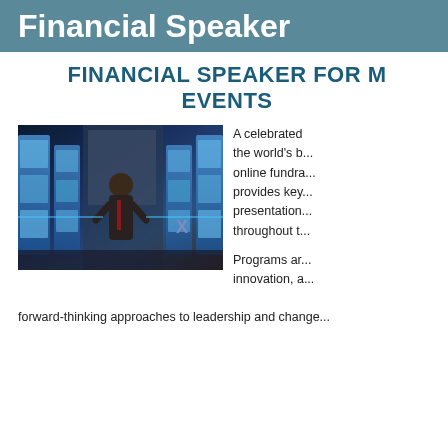Financial Speaker
FINANCIAL SPEAKER FOR M... EVENTS
[Figure (photo): A man in a dark suit with a red tie speaking on stage in front of a high-tech backdrop with blue LED panels and screens.]
A celebrated... the world's b... online fundra... provides key... presentation... throughout...
Programs ar... innovation, a... forward-thinking approaches to leadership and change...